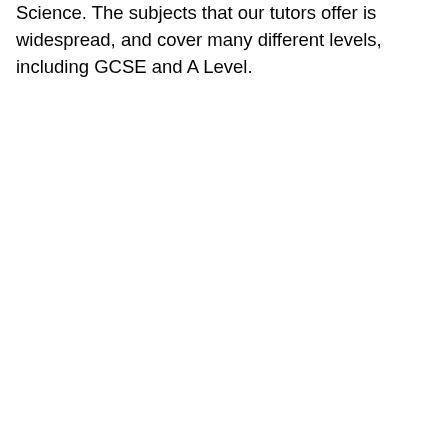Science. The subjects that our tutors offer is widespread, and cover many different levels, including GCSE and A Level.